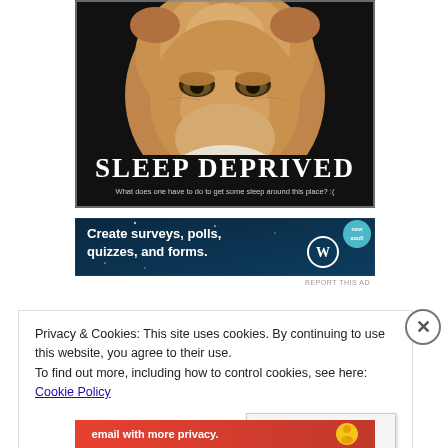[Figure (photo): Meme image of a grumpy-looking Persian cat with orange/tan fur and a flat face, against a black background. Large white text reads 'SLEEP DEPRIVED' and smaller text below reads 'What does one have to do to get some sleep around this place? :(']
[Figure (other): Advertisement banner with dark blue/teal background and stars. Text reads 'Create surveys, polls, quizzes, and forms.' with WordPress logo and 'now soul' badge on the right.]
REPORT THIS AD
Privacy & Cookies: This site uses cookies. By continuing to use this website, you agree to their use.
To find out more, including how to control cookies, see here: Cookie Policy
Close and accept
[Figure (other): Bottom advertisement strip with red/orange background. Text reads 'email with more privacy.' with a duck logo on the right.]